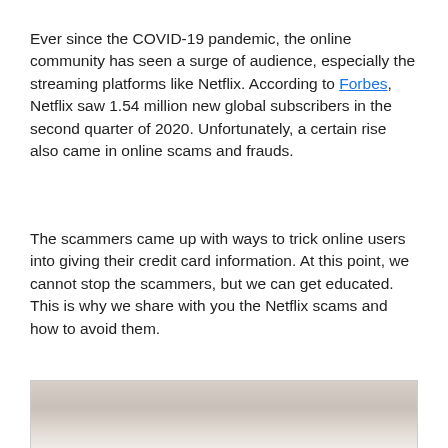Ever since the COVID-19 pandemic, the online community has seen a surge of audience, especially the streaming platforms like Netflix. According to Forbes, Netflix saw 1.54 million new global subscribers in the second quarter of 2020. Unfortunately, a certain rise also came in online scams and frauds.
The scammers came up with ways to trick online users into giving their credit card information. At this point, we cannot stop the scammers, but we can get educated. This is why we share with you the Netflix scams and how to avoid them.
[Figure (photo): Partial photo of a person, cropped at bottom of page, showing light indoor background]